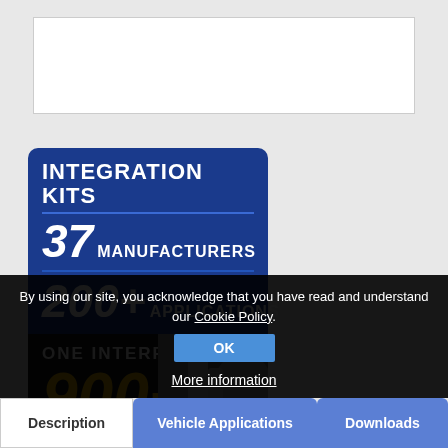[Figure (advertisement): Integration Kits advertisement banner showing: INTEGRATION KITS, 37 MANUFACTURERS, 200+ APPLICATIONS in dark blue section, then ONE INTERFACE 900+ in black section with car interior image]
By using our site, you acknowledge that you have read and understand our Cookie Policy.
OK
More information
Description
Vehicle Applications
Downloads